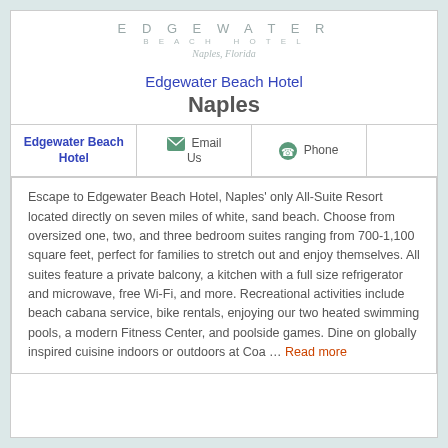[Figure (logo): Edgewater Beach Hotel logo with text: EDGEWATER, BEACH HOTEL, Naples, Florida]
Edgewater Beach Hotel
Naples
| Edgewater Beach Hotel | Email Us | Phone |  |
| --- | --- | --- | --- |
|  |
Escape to Edgewater Beach Hotel, Naples' only All-Suite Resort located directly on seven miles of white, sand beach. Choose from oversized one, two, and three bedroom suites ranging from 700-1,100 square feet, perfect for families to stretch out and enjoy themselves. All suites feature a private balcony, a kitchen with a full size refrigerator and microwave, free Wi-Fi, and more. Recreational activities include beach cabana service, bike rentals, enjoying our two heated swimming pools, a modern Fitness Center, and poolside games. Dine on globally inspired cuisine indoors or outdoors at Coa … Read more